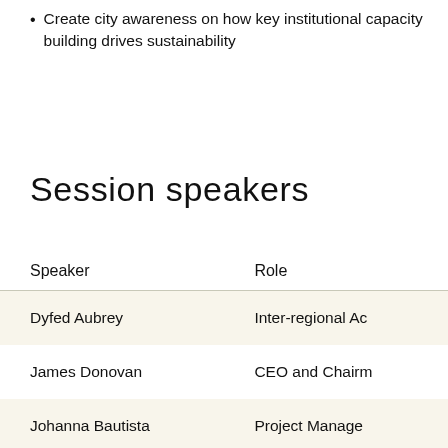Create city awareness on how key institutional capacity building drives sustainability
Session speakers
| Speaker | Role |
| --- | --- |
| Dyfed Aubrey | Inter-regional Ac… |
| James Donovan | CEO and Chairm… |
| Johanna Bautista | Project Manage… |